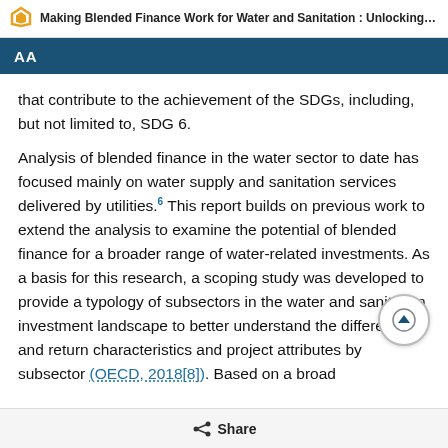Making Blended Finance Work for Water and Sanitation : Unlocking…
AA
that contribute to the achievement of the SDGs, including, but not limited to, SDG 6.
Analysis of blended finance in the water sector to date has focused mainly on water supply and sanitation services delivered by utilities.6 This report builds on previous work to extend the analysis to examine the potential of blended finance for a broader range of water-related investments. As a basis for this research, a scoping study was developed to provide a typology of subsectors in the water and sanitation investment landscape to better understand the different risk and return characteristics and project attributes by subsector (OECD, 2018[8]). Based on a broad
Share